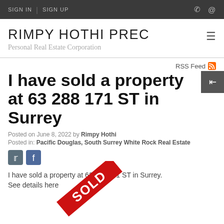SIGN IN | SIGN UP
RIMPY HOTHI PREC
Personal Real Estate Corporation
RSS Feed
I have sold a property at 63 288 171 ST in Surrey
Posted on June 8, 2022 by Rimpy Hothi
Posted in: Pacific Douglas, South Surrey White Rock Real Estate
[Figure (illustration): SOLD stamp/ribbon diagonal red overlay]
I have sold a property at 63 288 171 ST in Surrey.
See details here